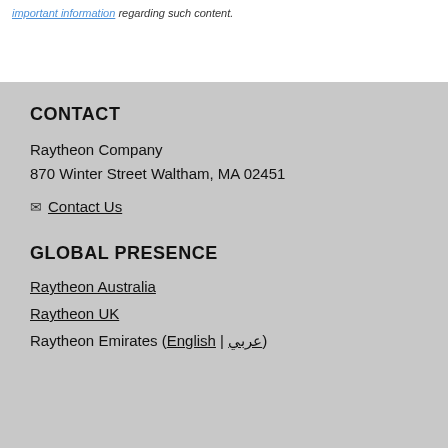important information regarding such content.
CONTACT
Raytheon Company
870 Winter Street Waltham, MA 02451
✉ Contact Us
GLOBAL PRESENCE
Raytheon Australia
Raytheon UK
Raytheon Emirates (English | عربي)